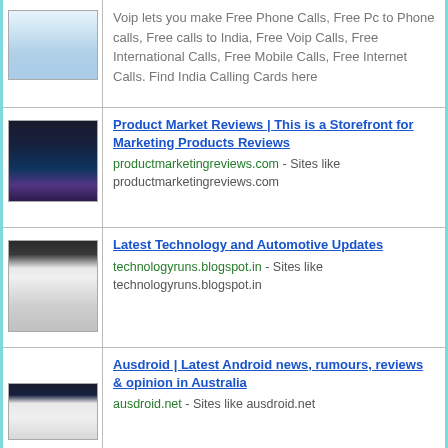Voip lets you make Free Phone Calls, Free Pc to Phone calls, Free calls to India, Free Voip Calls, Free International Calls, Free Mobile Calls, Free Internet Calls. Find India Calling Cards here
Product Market Reviews | This is a Storefront for Marketing Products Reviews productmarketingreviews.com - Sites like productmarketingreviews.com
Latest Technology and Automotive Updates technologyruns.blogspot.in - Sites like technologyruns.blogspot.in
Ausdroid | Latest Android news, rumours, reviews & opinion in Australia ausdroid.net - Sites like ausdroid.net